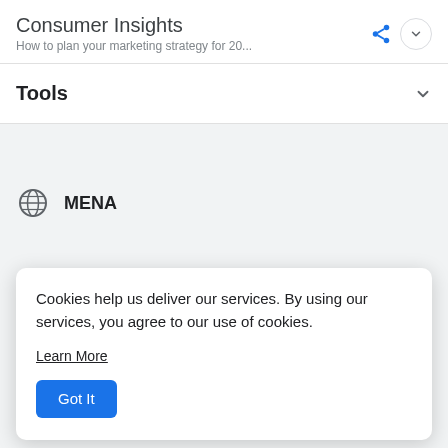Consumer Insights
How to plan your marketing strategy for 20...
Tools
MENA
Cookies help us deliver our services. By using our services, you agree to our use of cookies.
Learn More
Got It